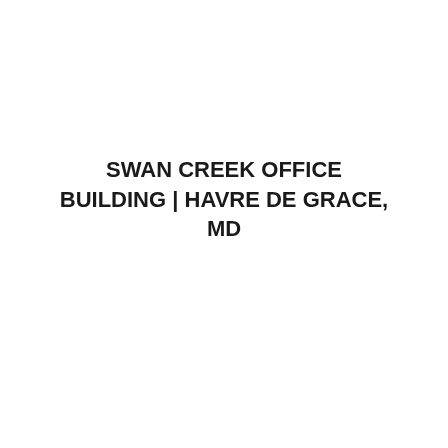SWAN CREEK OFFICE BUILDING | HAVRE DE GRACE, MD